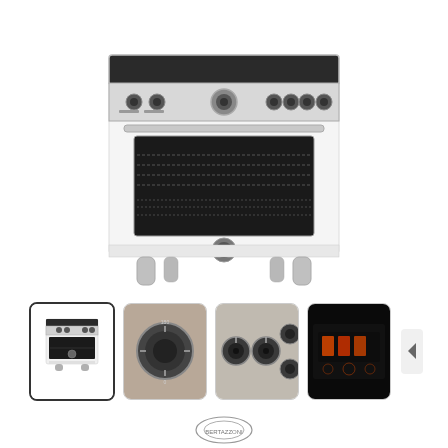[Figure (photo): Front view of a Bertazzoni white induction range with stainless steel control panel, multiple knobs, and dark glass oven window with racks visible, four stainless steel legs]
[Figure (photo): Thumbnail 1: Full front view of white induction range - selected/active thumbnail]
[Figure (photo): Thumbnail 2: Close-up of circular oven control knob/dial in stainless steel]
[Figure (photo): Thumbnail 3: Close-up of multiple control knobs on stainless steel panel]
[Figure (photo): Thumbnail 4: Close-up of black induction cooktop surface with illuminated display]
[Figure (logo): Bertazzoni brand logo at bottom]